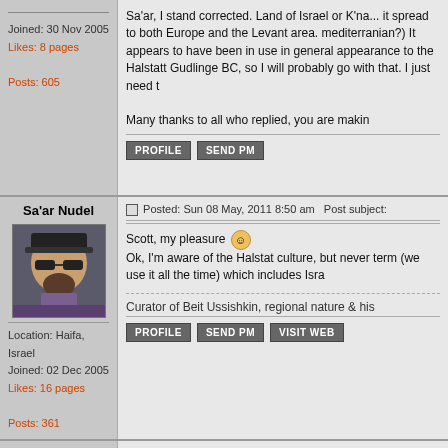Joined: 30 Nov 2005
Likes: 8 pages
Posts: 605
Sa'ar, I stand corrected. Land of Israel or K'na... it spread to both Europe and the Levant area. mediterranian?) It appears to have been in use in general appearance to the Halstatt Gudlinge BC, so I will probably go with that. I just need t

Many thanks to all who replied, you are makin
PROFILE   SEND PM
Sa'ar Nudel
Posted: Sun 08 May, 2011 8:50 am   Post subject:
[Figure (photo): Profile photo of Sa'ar Nudel - man wearing black hat and sunglasses]
Location: Haifa, Israel
Joined: 02 Dec 2005
Likes: 16 pages
Posts: 361
Scott, my pleasure :) Ok, I'm aware of the Halstat culture, but never term (we use it all the time) which includes Isra
Curator of Beit Ussishkin, regional nature & his
PROFILE   SEND PM   VISIT WEB
Dan Howard
Posted: Sun 08 May, 2011 2:06 pm   Post subject:
Sa'ar Nudel wrote:
[Figure (photo): Book cover: Bronze Age Military Equipment]